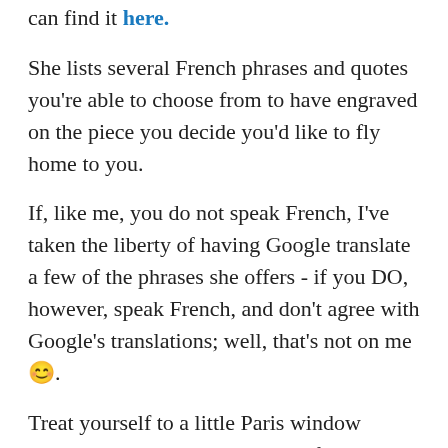can find it here.
She lists several French phrases and quotes you're able to choose from to have engraved on the piece you decide you'd like to fly home to you.
If, like me, you do not speak French, I've taken the liberty of having Google translate a few of the phrases she offers - if you DO, however, speak French, and don't agree with Google's translations; well, that's not on me 😊.
Treat yourself to a little Paris window shopping or, as the French say, "faire du lèche-vitrines" (literally, "licking the windows of the shops") by checking out Delphine's website.
You may find a piece, or two, along with a French phrase that you especially love and